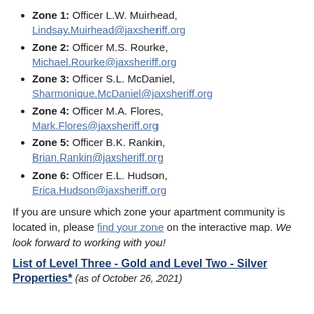Zone 1: Officer L.W. Muirhead, Lindsay.Muirhead@jaxsheriff.org
Zone 2: Officer M.S. Rourke, Michael.Rourke@jaxsheriff.org
Zone 3: Officer S.L. McDaniel, Sharmonique.McDaniel@jaxsheriff.org
Zone 4: Officer M.A. Flores, Mark.Flores@jaxsheriff.org
Zone 5: Officer B.K. Rankin, Brian.Rankin@jaxsheriff.org
Zone 6: Officer E.L. Hudson, Erica.Hudson@jaxsheriff.org
If you are unsure which zone your apartment community is located in, please find your zone on the interactive map. We look forward to working with you!
List of Level Three - Gold and Level Two - Silver Properties* (as of October 26, 2021)